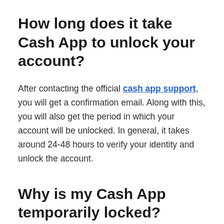How long does it take Cash App to unlock your account?
After contacting the official cash app support, you will get a confirmation email. Along with this, you will also get the period in which your account will be unlocked. In general, it takes around 24-48 hours to verify your identity and unlock the account.
Why is my Cash App temporarily locked?